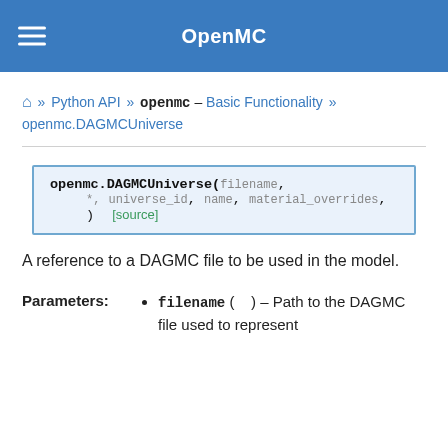OpenMC
🏠 » Python API » openmc – Basic Functionality » openmc.DAGMCUniverse
openmc.DAGMCUniverse(filename, *, universe_id=None, name='', material_overrides=None) [source]
A reference to a DAGMC file to be used in the model.
Parameters: filename ( ) – Path to the DAGMC file used to represent